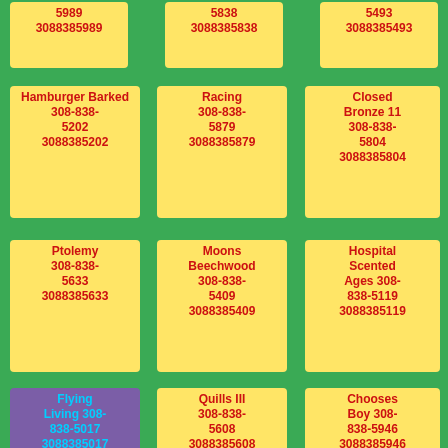5989
3088385989
5838
3088385838
5493
3088385493
Hamburger Barked 308-838-5202
3088385202
Racing 308-838-5879
3088385879
Closed Bronze 11 308-838-5804
3088385804
Ptolemy 308-838-5633
3088385633
Moons Beechwood 308-838-5409
3088385409
Hospital Scented Ages 308-838-5119
3088385119
Flying Living 308-838-5017
3088385017
Quills III 308-838-5608
3088385608
Chooses Boy 308-838-5946
3088385946
Knuckles